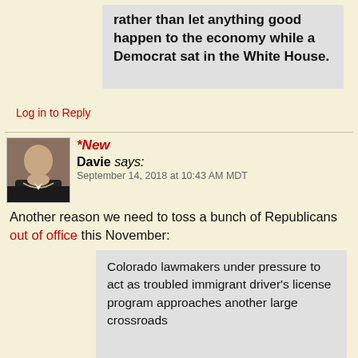rather than let anything good happen to the economy while a Democrat sat in the White House.
Log in to Reply
*New
Davie says:
September 14, 2018 at 10:43 AM MDT
Another reason we need to toss a bunch of Republicans out of office this November:
Colorado lawmakers under pressure to act as troubled immigrant driver's license program approaches another large crossroads
if the...